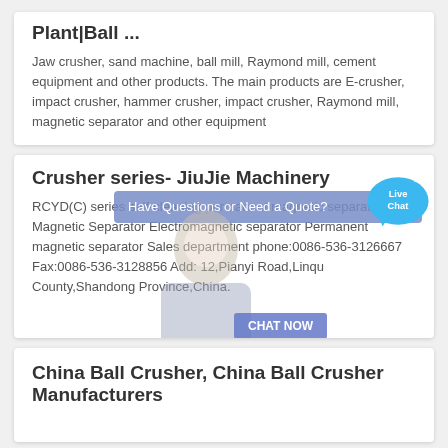Plant|Ball ...
Jaw crusher, sand machine, ball mill, Raymond mill, cement equipment and other products. The main products are E-crusher, impact crusher, hammer crusher, impact crusher, Raymond mill, magnetic separator and other equipment
Crusher series- JiuJie Machinery
RCYD(C) series self-cleaning permanent magnetic separator Magnetic Separator Electromagnetic separator Permanent magnetic separator Sales department phone:0086-536-3126667 Fax:0086-536-3128856 Add: 12,Pianyi Road,Linqu County,Shandong Province,China.
China Ball Crusher, China Ball Crusher Manufacturers